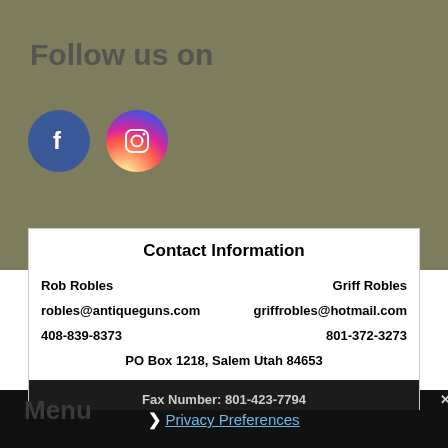Follow us on
[Figure (logo): Facebook circular logo icon (blue background with white 'f') and Instagram circular logo icon (gradient background with white camera icon)]
Contact Information
Rob Robles    Griff Robles
robles@antiqueguns.com    griffrobles@hotmail.com
408-839-8373    801-372-3273
PO Box 1218, Salem Utah 84653
Fax Number: 801-423-7794
❯ Privacy Preferences